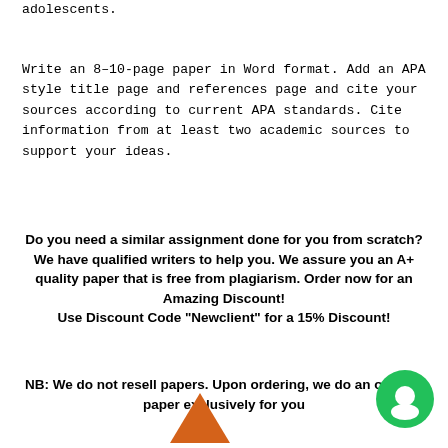adolescents.
Write an 8–10-page paper in Word format. Add an APA style title page and references page and cite your sources according to current APA standards. Cite information from at least two academic sources to support your ideas.
Do you need a similar assignment done for you from scratch? We have qualified writers to help you. We assure you an A+ quality paper that is free from plagiarism. Order now for an Amazing Discount!
Use Discount Code "Newclient" for a 15% Discount!
NB: We do not resell papers. Upon ordering, we do an original paper exclusively for you